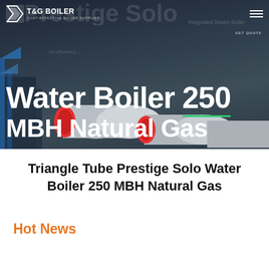[Figure (photo): Hero banner image of industrial water boilers (Triangle Tube Prestige Solo) with dark industrial background. Overlaid with website header showing logo 'T&G BOILER' with tagline 'COST-EFFECTIVE BOILER SUPPLIER', a hamburger menu, and large bold white text reading 'Water Boiler 250 MBH Natural Gas'. A GET QUOTE button is visible on the right side.]
Triangle Tube Prestige Solo Water Boiler 250 MBH Natural Gas
Hot News